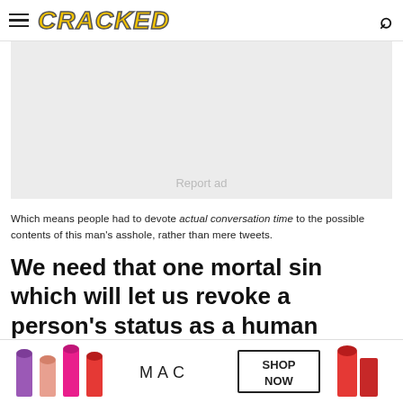CRACKED
[Figure (other): Advertisement placeholder box with 'Report ad' text]
Which means people had to devote actual conversation time to the possible contents of this man's asshole, rather than mere tweets.
We need that one mortal sin which will let us revoke a person's status as a human worthy of dignity, respec
[Figure (other): MAC cosmetics advertisement showing lipsticks with SHOP NOW button]